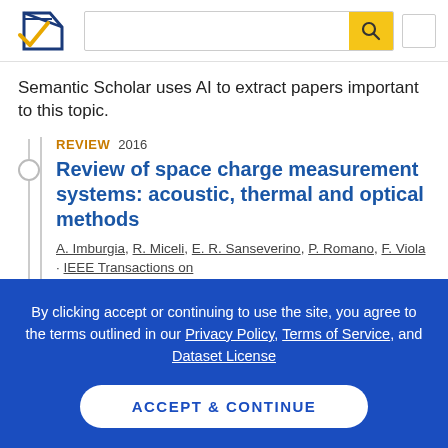[Figure (logo): Semantic Scholar logo — dark blue and yellow checkmark/bookmark icon]
Semantic Scholar uses AI to extract papers important to this topic.
REVIEW 2016
Review of space charge measurement systems: acoustic, thermal and optical methods
A. Imburgia, R. Miceli, E. R. Sanseverino, P. Romano, F. Viola · IEEE Transactions on...
By clicking accept or continuing to use the site, you agree to the terms outlined in our Privacy Policy, Terms of Service, and Dataset License
ACCEPT & CONTINUE